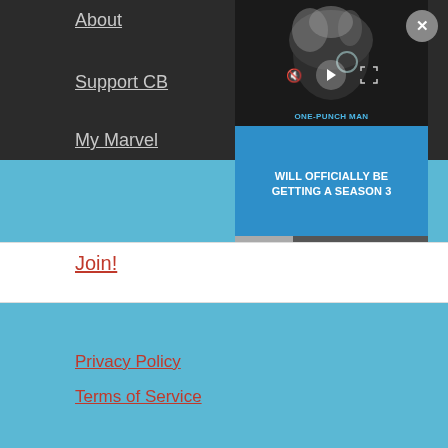About
Support CB
My Marvel
[Figure (screenshot): Video player overlay showing One-Punch Man anime character with text: 'ONE-PUNCH MAN WILL OFFICIALLY BE GETTING A SEASON 3' on blue background. Video controls visible. Close (X) button top right.]
Join!
Privacy Policy
Terms of Service
RECENT POSTS
James Spooner Interview on “The High Desert: Black. Punk. Nowhere”
Emma Frost Reading Order!